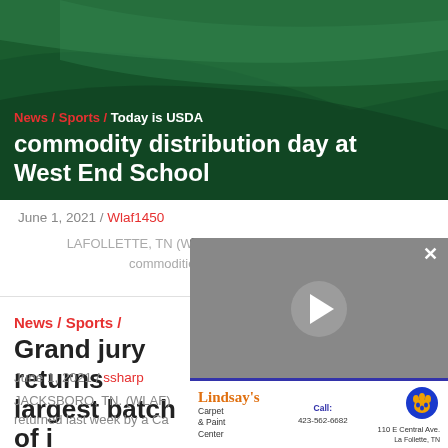[Figure (photo): Dark green hero banner with diagonal swoosh design for WLAF news article]
News / Sports / Today is USDA commodity distribution day at West End School
June 1, 2021 / Wlaf1450
LAFOLLETTE, TN (WLAF) – ETHRA distributes USDA commodities today in La Follette.
News / Sports / Grand jury returns largest batch of indictments of the year; 20 names
June 1, 2021 / ssharp
JACKSBORO, TN. (WLAF)
returned last week by a Ca
[Figure (screenshot): Video advertisement popup for Lindsay's Carpet & Paint Center with play button overlay and blue border, showing paw print logo, call info and address 110 E Central Ave., phone 423-562-6682]